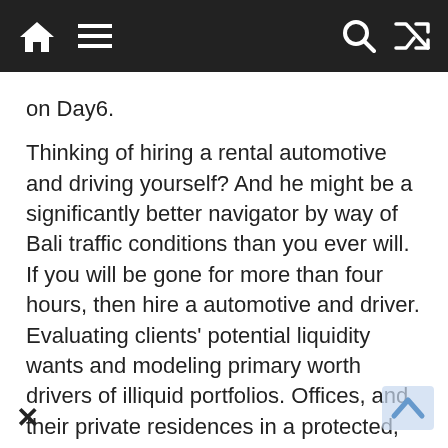Navigation bar with home, menu, search, and shuffle icons
on Day6.
Thinking of hiring a rental automotive and driving yourself? And he might be a significantly better navigator by way of Bali traffic conditions than you ever will. If you will be gone for more than four hours, then hire a automotive and driver. Evaluating clients' potential liquidity wants and modeling primary worth drivers of illiquid portfolios. Offices, and their private residences in a protected, secure, and professional method. Full-time personal chef/household supervisor wanted for an energetic, professional couple.
So far I've solely been publishing some advert-hoc evaluations despatched to me by customers. I haven't yet set up a evaluate system as a result of